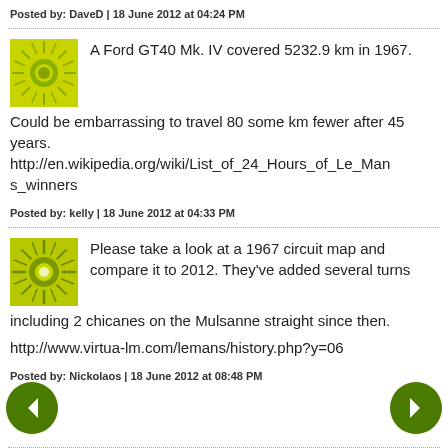Posted by: DaveD | 18 June 2012 at 04:24 PM
A Ford GT40 Mk. IV covered 5232.9 km in 1967.

Could be embarrassing to travel 80 some km fewer after 45 years.
http://en.wikipedia.org/wiki/List_of_24_Hours_of_Le_Mans_winners
Posted by: kelly | 18 June 2012 at 04:33 PM
Please take a look at a 1967 circuit map and compare it to 2012. They've added several turns including 2 chicanes on the Mulsanne straight since then.

http://www.virtua-lm.com/lemans/history.php?y=06
Posted by: Nickolaos | 18 June 2012 at 08:48 PM